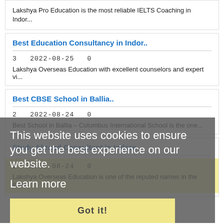Lakshya Pro Education is the most reliable IELTS Coaching in Indor...
Best Education Consultancy in Indor..
3   2022-08-25   0
Lakshya Overseas Education with excellent counselors and expert vi...
Best CBSE School in Ballia..
2   2022-08-24   0
Best School in Ballia – Columbus International School is the one...
Study Abroad Consultant in Indore..
2   2022-08-24   0
Lakshya Overseas Education is one of the reputed names in the indu...
This website uses cookies to ensure you get the best experience on our website. Learn more
Got it!